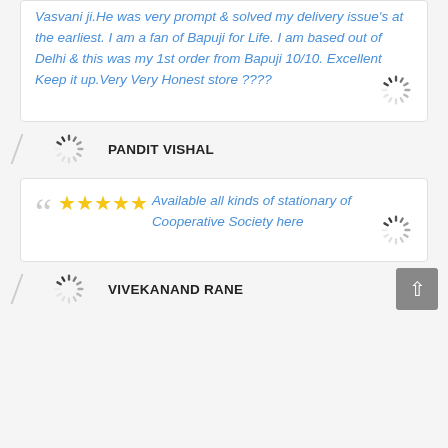Vasvani ji.He was very prompt & solved my delivery issue's at the earliest. I am a fan of Bapuji for Life. I am based out of Delhi & this was my 1st order from Bapuji 10/10. Excellent Keep it up.Very Very Honest store ????
PANDIT VISHAL
Available all kinds of stationary of Cooperative Society here
VIVEKANAND RANE